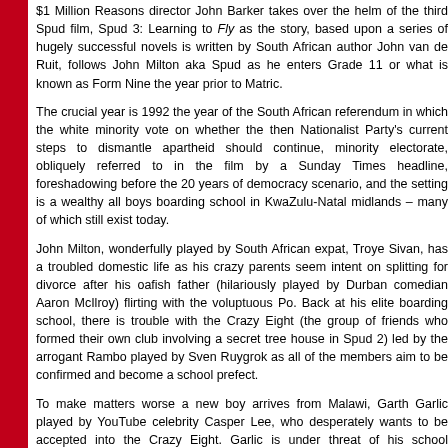$1 Million Reasons director John Barker takes over the helm of the third Spud film, Spud 3: Learning to Fly as the story, based upon a series of hugely successful novels is written by South African author John van de Ruit, follows John Milton aka Spud as he enters Grade 11 or what is known as Form Nine the year prior to Matric.
The crucial year is 1992 the year of the South African referendum in which the white minority vote on whether the then Nationalist Party's current steps to dismantle apartheid should continue, minority electorate, obliquely referred to in the film by a Sunday Times headline, foreshadowing before the 20 years of democracy scenario, and the setting is a wealthy all boys boarding school in KwaZulu-Natal midlands – many of which still exist today.
John Milton, wonderfully played by South African expat, Troye Sivan, has a troubled domestic life as his crazy parents seem intent on splitting for divorce after his oafish father (hilariously played by Durban comedian Aaron McIlroy) flirting with the voluptuous Po. Back at his elite boarding school, there is trouble with the Crazy Eight (the group of friends who formed their own club involving a secret tree house in Spud 2) led by the arrogant Rambo played by Sven Ruygrok as all of the members aim to be confirmed and become a school prefect.
To make matters worse a new boy arrives from Malawi, Garth Garlic played by YouTube celebrity Casper Lee, who desperately wants to be accepted into the Crazy Eight. Garlic is under threat of his school scholarship being revoked should he not prove himself both academically and, oddly enough on the sports field.
Milton often seeks advice from the caustic and brilliant Guv, wonderfully played by British comedian John Cleese from the Monty Python movies not to mention Fawlty Towers. It was a monumental casting coup for the Spud Trilogy to get someone as prolific as Cleese to appear in a South African film and really improved the marketability of the Spud franchise, particularly in the UK and Australia where there are large South African expat communities residing.
To make matters worse a new boy arrives from Malawi, Garth Garlic played by YouTube celebrity Casper Lee, who desperately wants to be accepted into the Crazy Eight.